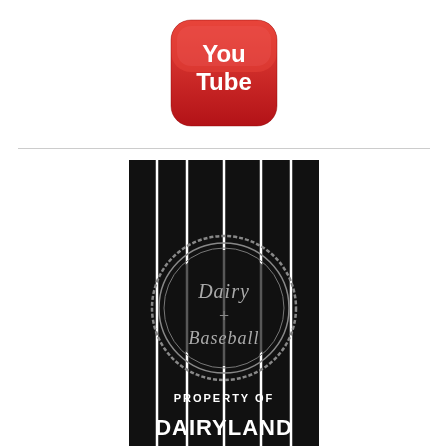[Figure (logo): YouTube logo button - red rounded square with white play button and 'You Tube' text]
[Figure (logo): Dairy + Baseball circular stamp logo on black baseball jersey background with pinstripes, reading 'PROPERTY OF DAIRYLAND' with cow mascot]